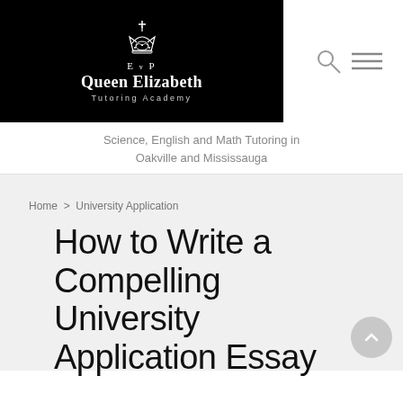[Figure (logo): Queen Elizabeth Tutoring Academy logo: black banner with royal crest, E v P text, school name in serif white font, and tagline in spaced grey letters]
Science, English and Math Tutoring in Oakville and Mississauga
Home > University Application
How to Write a Compelling University Application Essay